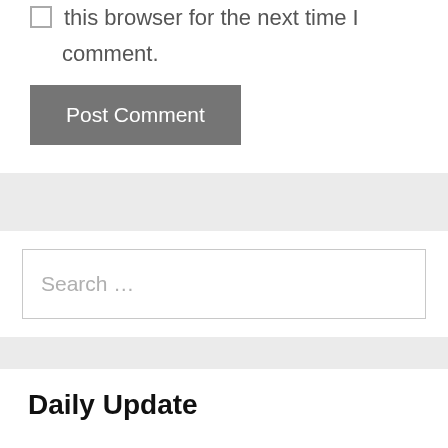this browser for the next time I comment.
Post Comment
Search …
Daily Update
Happy Birthday Wishes in Hindi